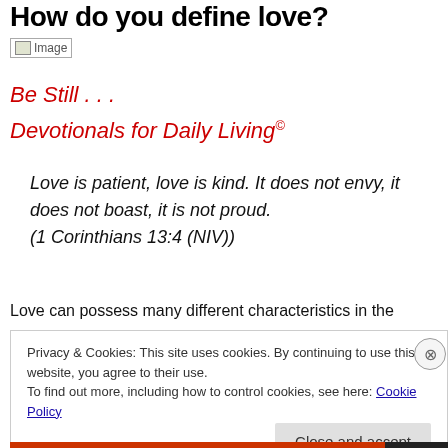How do you define love?
[Figure (photo): Image placeholder (broken image icon)]
Be Still . . .
Devotionals for Daily Living©
Love is patient, love is kind. It does not envy, it does not boast, it is not proud. (1 Corinthians 13:4 (NIV))
Love can possess many different characteristics in the
Privacy & Cookies: This site uses cookies. By continuing to use this website, you agree to their use.
To find out more, including how to control cookies, see here: Cookie Policy
Close and accept